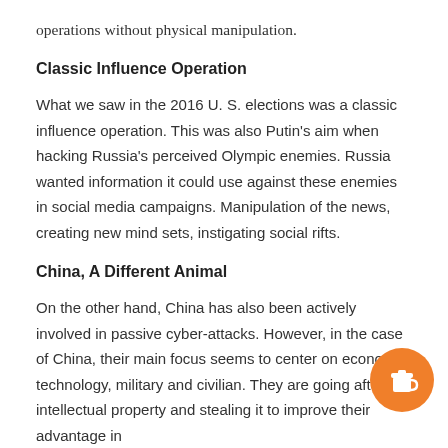operations without physical manipulation.
Classic Influence Operation
What we saw in the 2016 U. S. elections was a classic influence operation. This was also Putin's aim when hacking Russia's perceived Olympic enemies. Russia wanted information it could use against these enemies in social media campaigns. Manipulation of the news, creating new mind sets, instigating social rifts.
China, A Different Animal
On the other hand, China has also been actively involved in passive cyber-attacks. However, in the case of China, their main focus seems to center on economic, technology, military and civilian. They are going after intellectual property and stealing it to improve their advantage in